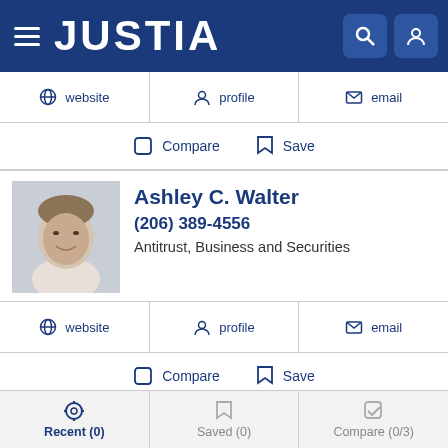JUSTIA
website | profile | email
Compare | Save
Ashley C. Walter
(206) 389-4556
Antitrust, Business and Securities
website | profile | email
Compare | Save
Ashley M. Romero
(650) 335-7647
Recent (0) | Saved (0) | Compare (0/3)